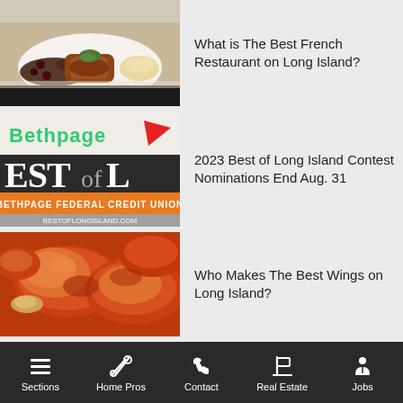[Figure (photo): Close-up photo of French cuisine dishes on a white plate with dark sauce and garnish]
What is The Best French Restaurant on Long Island?
[Figure (logo): Bethpage Federal Credit Union - Best of Long Island contest banner with green and orange branding]
2023 Best of Long Island Contest Nominations End Aug. 31
[Figure (photo): Close-up photo of chicken wings with golden-brown crispy coating]
Who Makes The Best Wings on Long Island?
[Figure (photo): Partially visible photo at the bottom of the page]
Sections  Home Pros  Contact  Real Estate  Jobs